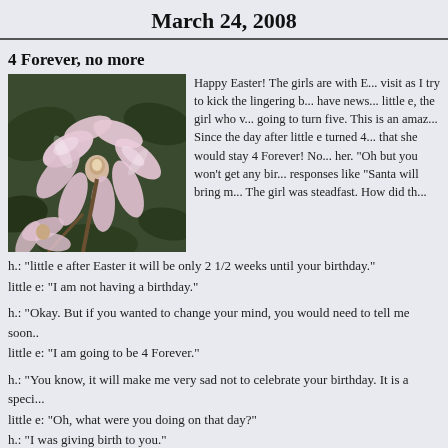March 24, 2008
4 Forever, no more
[Figure (photo): Close-up photograph of pink magnolia or similar flower blossoms with dark foliage in background]
Happy Easter! The girls are with E... visit as I try to kick the lingering b... have news... little e, the girl who v... going to turn five. This is an amaz... Since the day after little e turned 4... that she would stay 4 Forever! No... her. "Oh but you won't get any bir... responses like "Santa will bring m... The girl was steadfast. How did th...
h.: "little e after Easter it will be only 2 1/2 weeks until your birthday."
little e: "I am not having a birthday."
h.: "Okay. But if you wanted to change your mind, you would need to tell me soon..
little e: "I am going to be 4 Forever."
h.: "You know, it will make me very sad not to celebrate your birthday. It is a speci...
little e: "Oh, what were you doing on that day?"
h.: "I was giving birth to you."
little e: "Oh."
Sweetheart G: "It's a very special day for me too.."